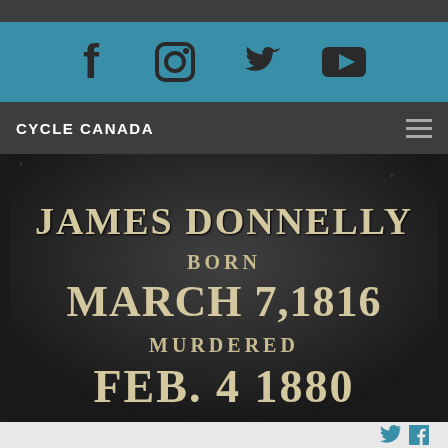CYCLE CANADA
[Figure (photo): Gravestone plaque for James Donnelly reading: JAMES DONNELLY BORN MARCH 7, 1816 MURDERED FEB. 4 1880]
Social share icons: Twitter and Facebook